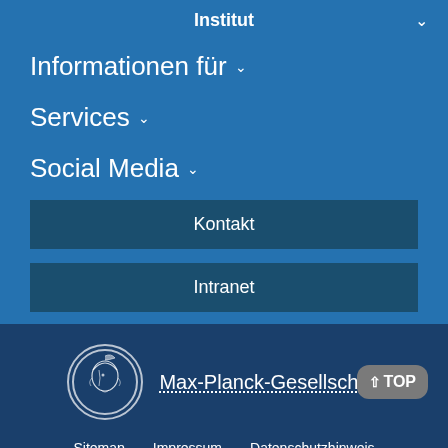Institut
Informationen für
Services
Social Media
Kontakt
Intranet
[Figure (logo): Max-Planck-Gesellschaft circular medallion logo]
Max-Planck-Gesellschaft
Sitemap   Impressum   Datenschutzhinweis
© 2022, Max-Planck-Gesellschaft